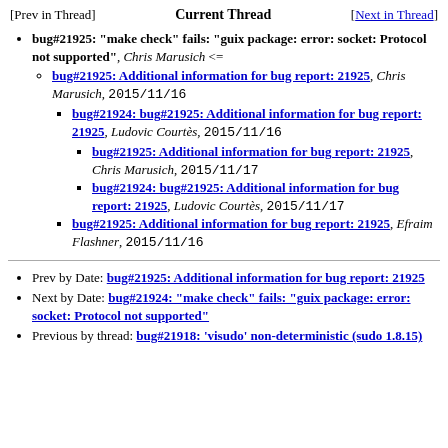[Prev in Thread]  Current Thread  [Next in Thread]
bug#21925: "make check" fails: "guix package: error: socket: Protocol not supported", Chris Marusich <=
bug#21925: Additional information for bug report: 21925, Chris Marusich, 2015/11/16
bug#21924: bug#21925: Additional information for bug report: 21925, Ludovic Courtès, 2015/11/16
bug#21925: Additional information for bug report: 21925, Chris Marusich, 2015/11/17
bug#21924: bug#21925: Additional information for bug report: 21925, Ludovic Courtès, 2015/11/17
bug#21925: Additional information for bug report: 21925, Efraim Flashner, 2015/11/16
Prev by Date: bug#21925: Additional information for bug report: 21925
Next by Date: bug#21924: "make check" fails: "guix package: error: socket: Protocol not supported"
Previous by thread: bug#21918: 'visudo' non-deterministic (sudo 1.8.15)